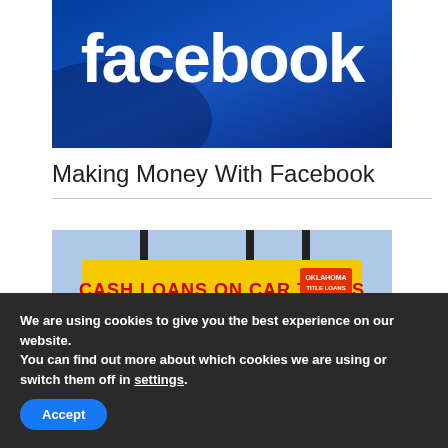[Figure (photo): Facebook logo on a blue background, showing the word 'facebook' in white letters]
Making Money With Facebook
[Figure (photo): A yellow banner sign reading 'CASH LOANS ON CAR TITLES' with a company logo on the right side, mounted on a building exterior]
We are using cookies to give you the best experience on our website.
You can find out more about which cookies we are using or switch them off in settings.
Accept